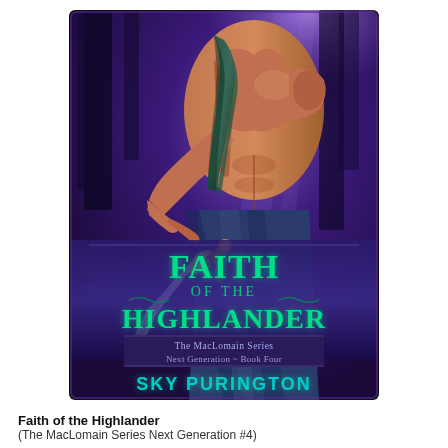[Figure (illustration): Book cover of 'Faith of the Highlander' by Sky Purington. Shows a muscular shirtless male Highlander holding a sword, wearing a tartan sash, set against a purple/blue mystical forest background. Title 'Faith of the Highlander' in large green stylized text. Subtitle banner reads 'The MacLomain Series Next Generation ~ Book Four'. Author name 'SKY PURINGTON' in large teal letters at the bottom.]
Faith of the Highlander
(The MacLomain Series Next Generation #4)